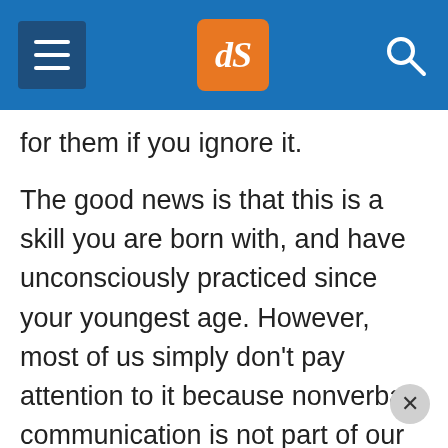dPS navigation header with menu, logo, and search
for them if you ignore it.
The good news is that this is a skill you are born with, and have unconsciously practiced since your youngest age. However, most of us simply don't pay attention to it because nonverbal communication is not part of our training curriculum, at school or later. Just like a musician will be more alert to sounds through practice, and a chef to taste through experience, I'm confident that you will soon become attuned to